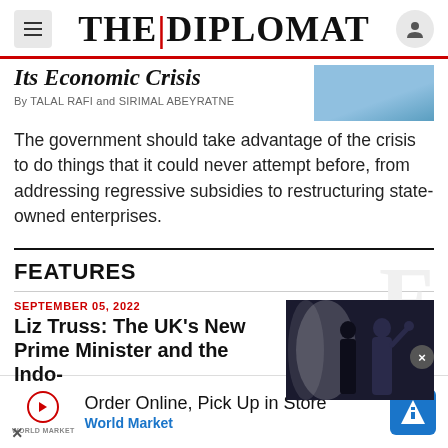THE DIPLOMAT
Its Economic Crisis
By TALAL RAFI and SIRIMAL ABEYRATNE
The government should take advantage of the crisis to do things that it could never attempt before, from addressing regressive subsidies to restructuring state-owned enterprises.
FEATURES
SEPTEMBER 05, 2022
Liz Truss: The UK's New Prime Minister and the Indo-
[Figure (photo): Photo of Liz Truss waving, with a person in the foreground, dark background with bright light]
Order Online, Pick Up in Store World Market